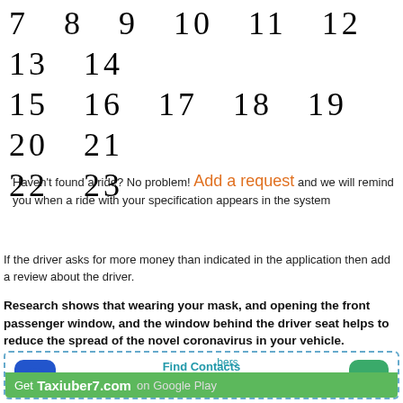7  8  9  10  11  12  13  14
15  16  17  18  19  20  21
22  23
Haven't found a ride? No problem! Add a request and we will remind you when a ride with your specification appears in the system
If the driver asks for more money than indicated in the application then add a review about the driver.
Research shows that wearing your mask, and opening the front passenger window, and the window behind the driver seat helps to reduce the spread of the novel coronavirus in your vehicle.
[Figure (screenshot): App download banner with blue icon, green T button, cyan links: Find Contacts, Getcontact premium apk, You can find more than, and green bar: Get Taxiuber7.com on Google Play bers]